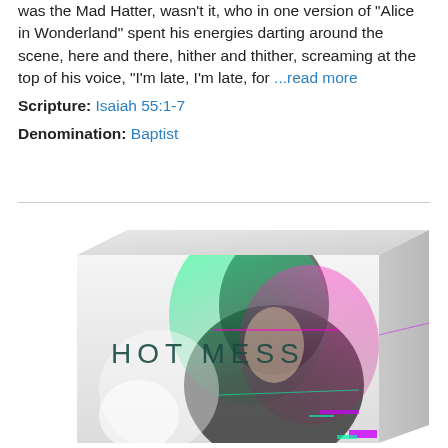was the Mad Hatter, wasn't it, who in one version of "Alice in Wonderland" spent his energies darting around the scene, here and there, hither and thither, screaming at the top of his voice, "I'm late, I'm late, for ...read more
Scripture: Isaiah 55:1-7
Denomination: Baptist
[Figure (photo): A product box with glitch-effect artwork showing a person with long hair surrounded by green and pink light effects, with the text 'HOT MESS' on the front face of the box.]